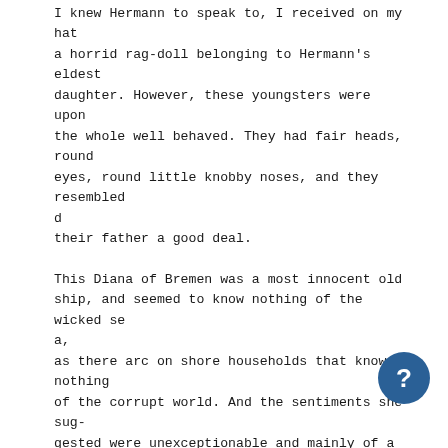I knew Hermann to speak to, I received on my hat a horrid rag-doll belonging to Hermann's eldest daughter. However, these youngsters were upon the whole well behaved. They had fair heads, round eyes, round little knobby noses, and they resembled
their father a good deal.

This Diana of Bremen was a most innocent old ship, and seemed to know nothing of the wicked sea,
as there arc on shore households that know nothing of the corrupt world. And the sentiments she sug-gested were unexceptionable and mainly of a do-mestic order. She was a home. AU these dear chil-I dren had learned to walk on her roomy quarter-deck.
In such thoughts there is something pretty, even touching. Their teeth, I should judge, they had cut on the ends of her running gear. I have many times observed the baby Hermann (Nicholas) en-gaged in gnawing the whipping of the fore-royal brace. Nicholas' favourite place of residence was under the main fife-rail. Directly he was let loos
[Figure (other): A circular dark blue help/info button with a question mark symbol in the bottom right corner of the page.]